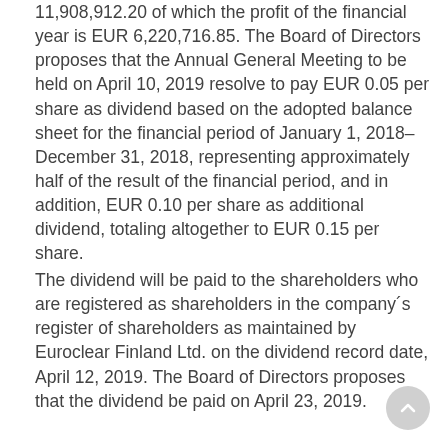11,908,912.20 of which the profit of the financial year is EUR 6,220,716.85. The Board of Directors proposes that the Annual General Meeting to be held on April 10, 2019 resolve to pay EUR 0.05 per share as dividend based on the adopted balance sheet for the financial period of January 1, 2018– December 31, 2018, representing approximately half of the result of the financial period, and in addition, EUR 0.10 per share as additional dividend, totaling altogether to EUR 0.15 per share.
The dividend will be paid to the shareholders who are registered as shareholders in the company´s register of shareholders as maintained by Euroclear Finland Ltd. on the dividend record date, April 12, 2019. The Board of Directors proposes that the dividend be paid on April 23, 2019.